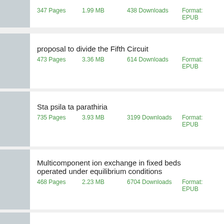347 Pages   1.99 MB   438 Downloads   Format: EPUB
proposal to divide the Fifth Circuit
473 Pages   3.36 MB   614 Downloads   Format: EPUB
Sta psila ta parathiria
735 Pages   3.93 MB   3199 Downloads   Format: EPUB
Multicomponent ion exchange in fixed beds operated under equilibrium conditions
468 Pages   2.23 MB   6704 Downloads   Format: EPUB